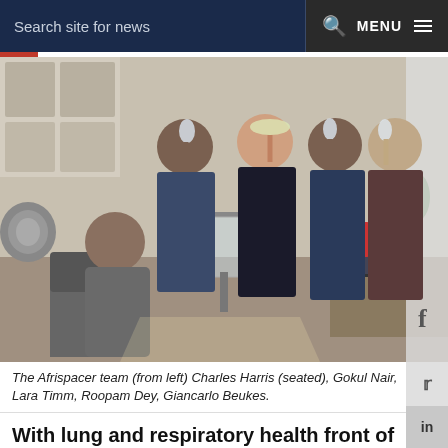Search site for news  MENU
[Figure (photo): Group photo of the Afrispacer team: Charles Harris (seated), Gokul Nair, Lara Timm, Roopam Dey, Giancarlo Beukes, holding trophy/award items in an office setting.]
The Afrispacer team (from left) Charles Harris (seated), Gokul Nair, Lara Timm, Roopam Dey, Giancarlo Beukes.
With lung and respiratory health front of mind as the province's COVID-19 cases rise, comes good news from